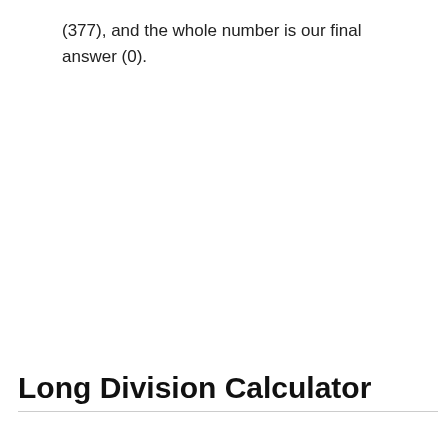(377), and the whole number is our final answer (0).
Long Division Calculator